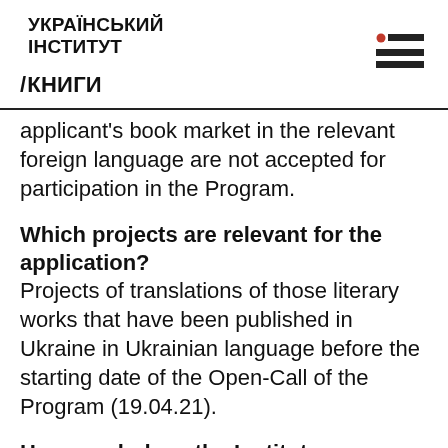УКРАЇНСЬКИЙ ІНСТИТУТ / КНИГИ
applicant's book market in the relevant foreign language are not accepted for participation in the Program.
Which projects are relevant for the application?
Projects of translations of those literary works that have been published in Ukraine in Ukrainian language before the starting date of the Open-Call of the Program (19.04.21).
How much does the Institute reimburse?
In the frame of the Program the maximum amount of the reimbursement for one project is EUR 4,000